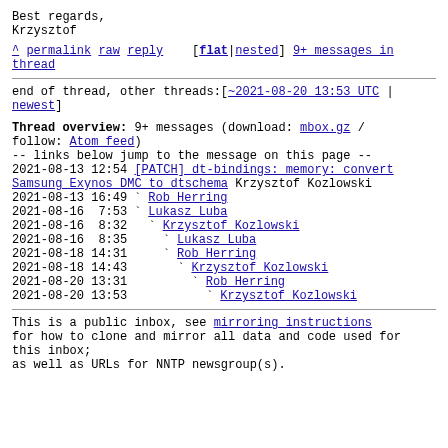Best regards,
Krzysztof
^ permalink raw reply  [flat|nested] 9+ messages in thread
end of thread, other threads:[~2021-08-20 13:53 UTC | newest]
Thread overview: 9+ messages (download: mbox.gz / follow: Atom feed)
-- links below jump to the message on this page --
2021-08-13 12:54 [PATCH] dt-bindings: memory: convert Samsung Exynos DMC to dtschema Krzysztof Kozlowski
2021-08-13 16:49 ` Rob Herring
2021-08-16  7:53 ` Lukasz Luba
2021-08-16  8:32   ` Krzysztof Kozlowski
2021-08-16  8:35     ` Lukasz Luba
2021-08-18 14:31     ` Rob Herring
2021-08-18 14:43       ` Krzysztof Kozlowski
2021-08-20 13:31         ` Rob Herring
2021-08-20 13:53           ` Krzysztof Kozlowski
This is a public inbox, see mirroring instructions
for how to clone and mirror all data and code used for this inbox;
as well as URLs for NNTP newsgroup(s).